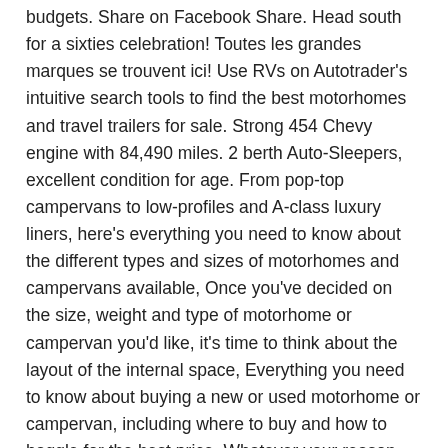budgets. Share on Facebook Share. Head south for a sixties celebration! Toutes les grandes marques se trouvent ici! Use RVs on Autotrader's intuitive search tools to find the best motorhomes and travel trailers for sale. Strong 454 Chevy engine with 84,490 miles. 2 berth Auto-Sleepers, excellent condition for age. From pop-top campervans to low-profiles and A-class luxury liners, here's everything you need to know about the different types and sizes of motorhomes and campervans available, Once you've decided on the size, weight and type of motorhome or campervan you'd like, it's time to think about the layout of the internal space, Everything you need to know about buying a new or used motorhome or campervan, including where to buy and how to haggle for the best price, Whatever your reason for selling, there are a number of ways to get the best price for your motorhome or campervan…, Looking for local motorhome and campervan dealers? We can't wait to help get you into the RV of your dreams here at your local motorhome … Motorhomes from reputable manufacturers Jayco and Thor 2017 & 2018 campervans in stock